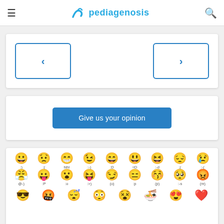pediagenosis
[Figure (screenshot): Navigation card with left and right arrow buttons]
[Figure (screenshot): Give us your opinion button card]
[Figure (screenshot): Emoji picker grid showing emoticons with text codes: :) :( hihi :-) :D =D :-d ;( :-( @-) :P :o :>) (o) :p (p) :-s (m) and partial third row]